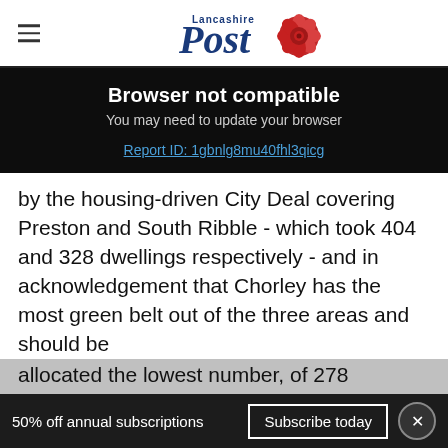Lancashire Post
Browser not compatible
You may need to update your browser
Report ID: 1gbnlg8mu40fhl3qicg
by the housing-driven City Deal covering Preston and South Ribble - which took 404 and 328 dwellings respectively - and in acknowledgement that Chorley has the most green belt out of the three areas and should be allocated the lowest number, of 278 properties.
50% off annual subscriptions   Subscribe today